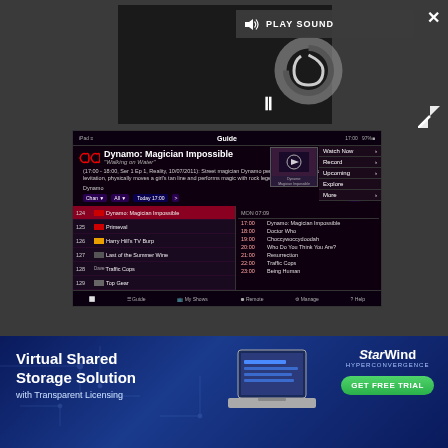[Figure (screenshot): Video player with PLAY SOUND button overlay, loading spinner circle, pause button, close (X) button, and expand button on dark grey background]
[Figure (screenshot): TV Guide app screenshot on iPad showing Dynamo: Magician Impossible programme details, channel listing with channels 124-131, and schedule column with times 17:00-23:00]
[Figure (screenshot): StarWind Hyperconvergence advertisement banner with Virtual Shared Storage Solution text, laptop image, StarWind logo, and GET FREE TRIAL green button]